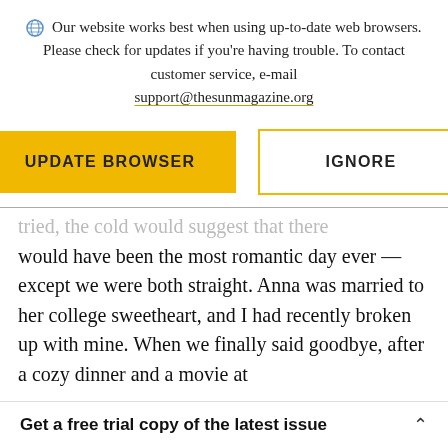Our website works best when using up-to-date web browsers. Please check for updates if you're having trouble. To contact customer service, e-mail support@thesunmagazine.org
[Figure (other): Two buttons: a yellow filled button labeled UPDATE BROWSER and an outlined yellow button labeled IGNORE]
would have been the most romantic day ever — except we were both straight. Anna was married to her college sweetheart, and I had recently broken up with mine. When we finally said goodbye, after a cozy dinner and a movie at
Get a free trial copy of the latest issue